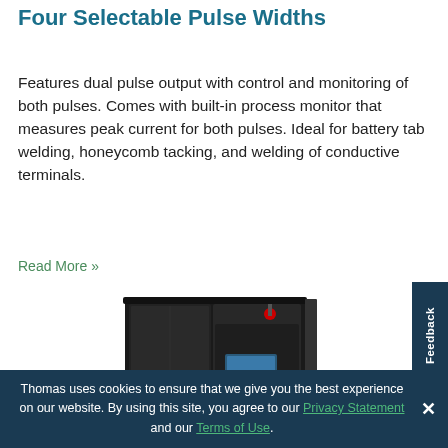Four Selectable Pulse Widths
Features dual pulse output with control and monitoring of both pulses. Comes with built-in process monitor that measures peak current for both pulses. Ideal for battery tab welding, honeycomb tacking, and welding of conductive terminals.
Read More »
[Figure (photo): Industrial welding cabinet / enclosure machine, black colored, with a front door open and control panel with touchscreen display and status light on top.]
Thomas uses cookies to ensure that we give you the best experience on our website. By using this site, you agree to our Privacy Statement and our Terms of Use.